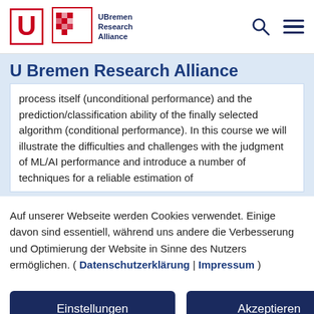[Figure (logo): U Bremen Research Alliance logo with red U letter mark and pixelated square icon]
U Bremen Research Alliance
process itself (unconditional performance) and the prediction/classification ability of the finally selected algorithm (conditional performance). In this course we will illustrate the difficulties and challenges with the judgment of ML/AI performance and introduce a number of techniques for a reliable estimation of
Auf unserer Webseite werden Cookies verwendet. Einige davon sind essentiell, während uns andere die Verbesserung und Optimierung der Website in Sinne des Nutzers ermöglichen. ( Datenschutzerklärung | Impressum )
Einstellungen
Akzeptieren